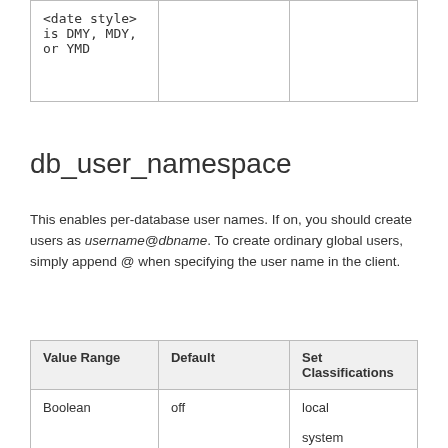| Value Range | Default | Set Classifications |
| --- | --- | --- |
| <date style> is DMY, MDY, or YMD |  |  |
db_user_namespace
This enables per-database user names. If on, you should create users as username@dbname. To create ordinary global users, simply append @ when specifying the user name in the client.
| Value Range | Default | Set Classifications |
| --- | --- | --- |
| Boolean | off | local

system |